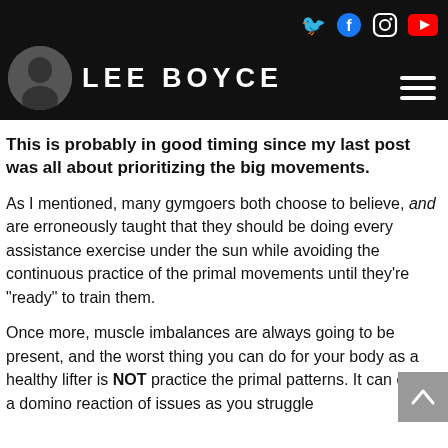LEE BOYCE
This is probably in good timing since my last post was all about prioritizing the big movements.
As I mentioned, many gymgoers both choose to believe, and are erroneously taught that they should be doing every assistance exercise under the sun while avoiding the continuous practice of the primal movements until they’re “ready” to train them.
Once more, muscle imbalances are always going to be present, and the worst thing you can do for your body as a healthy lifter is NOT practice the primal patterns. It can create a domino reaction of issues as you struggle